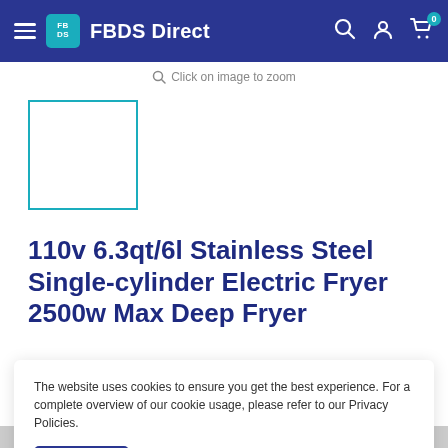FBDS Direct
Click on image to zoom
[Figure (other): Product thumbnail placeholder box with teal border]
110v 6.3qt/6l Stainless Steel Single-cylinder Electric Fryer 2500w Max Deep Fryer
The website uses cookies to ensure you get the best experience. For a complete overview of our cookie usage, please refer to our Privacy Policies.